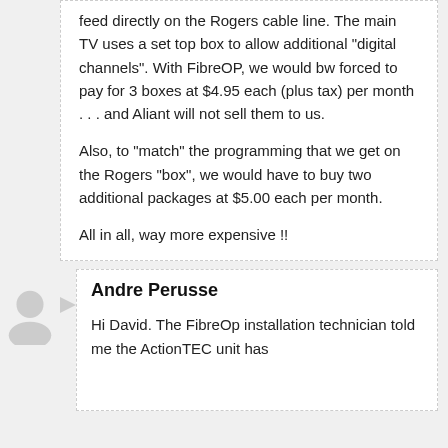feed directly on the Rogers cable line. The main TV uses a set top box to allow additional "digital channels". With FibreOP, we would bw forced to pay for 3 boxes at $4.95 each (plus tax) per month . . . and Aliant will not sell them to us.
Also, to "match" the programming that we get on the Rogers "box", we would have to buy two additional packages at $5.00 each per month.
All in all, way more expensive !!
Andre Perusse
Hi David. The FibreOp installation technician told me the ActionTEC unit has